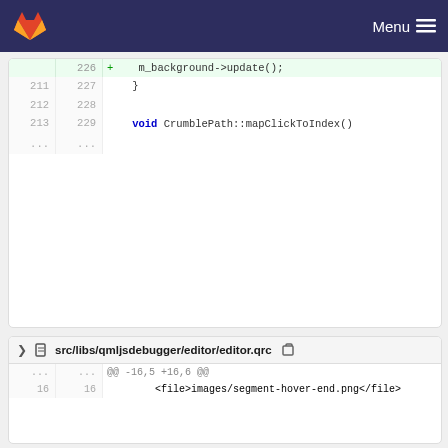GitLab Menu
[Figure (screenshot): Code diff block showing lines 211-213 / 226-229 with m_background->update(); and void CrumblePath::mapClickToIndex()]
[Figure (screenshot): Code diff block for src/libs/qmljsdebugger/editor/editor.qrc showing added line 19 with <file>images/color-picker-hicontrast.png</file>]